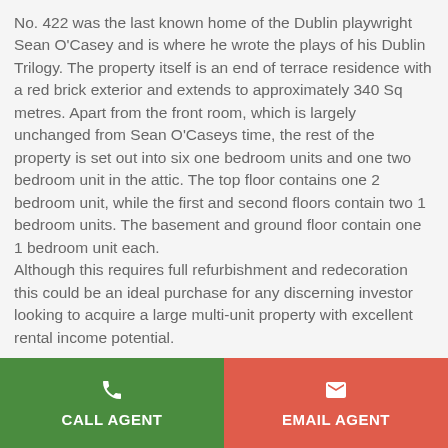No. 422 was the last known home of the Dublin playwright Sean O'Casey and is where he wrote the plays of his Dublin Trilogy. The property itself is an end of terrace residence with a red brick exterior and extends to approximately 340 Sq metres. Apart from the front room, which is largely unchanged from Sean O'Caseys time, the rest of the property is set out into six one bedroom units and one two bedroom unit in the attic. The top floor contains one 2 bedroom unit, while the first and second floors contain two 1 bedroom units. The basement and ground floor contain one 1 bedroom unit each. Although this requires full refurbishment and redecoration this could be an ideal purchase for any discerning investor looking to acquire a large multi-unit property with excellent rental income potential.
CALL AGENT
EMAIL AGENT